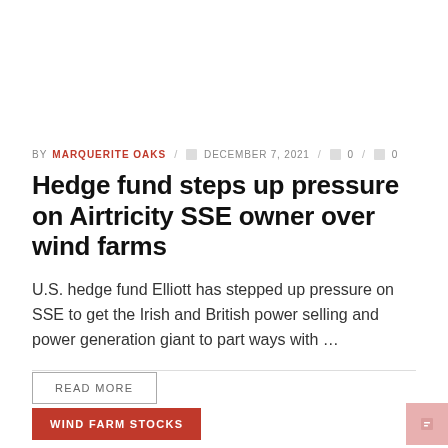BY MARQUERITE OAKS / ☐ DECEMBER 7, 2021 / ☐ 0 / ☐ 0
Hedge fund steps up pressure on Airtricity SSE owner over wind farms
U.S. hedge fund Elliott has stepped up pressure on SSE to get the Irish and British power selling and power generation giant to part ways with ...
READ MORE
WIND FARM STOCKS